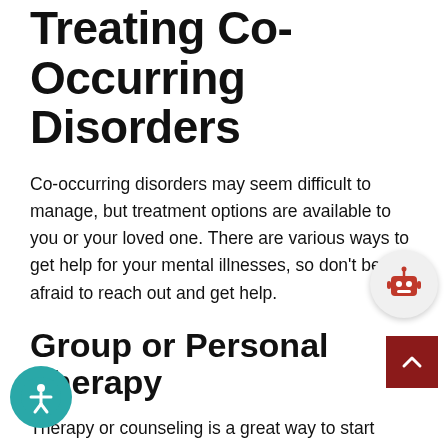Treating Co-Occurring Disorders
Co-occurring disorders may seem difficult to manage, but treatment options are available to you or your loved one. There are various ways to get help for your mental illnesses, so don't be afraid to reach out and get help.
Group or Personal Therapy
Therapy or counseling is a great way to start expressing your feelings and concerns in a non-judgemental environment. Your therapist or counselor can walk you through your emotions, start working you towards long-term treatment and solutions. A therapist can also help detect potential triggers and teach you ways to avoid them at times in the future.